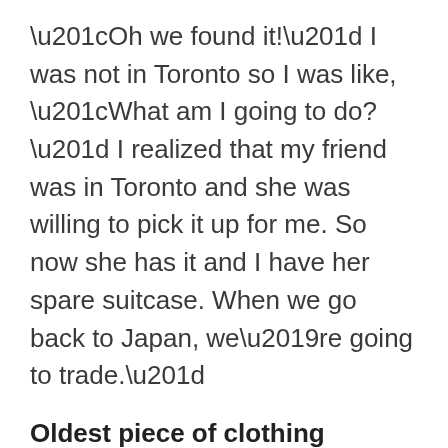“Oh we found it!” I was not in Toronto so I was like, “What am I going to do?” I realized that my friend was in Toronto and she was willing to pick it up for me. So now she has it and I have her spare suitcase. When we go back to Japan, we’re going to trade.”
Oldest piece of clothing
“My mom makes me throw something away every summer, so I don’t own something very old. I think the oldest